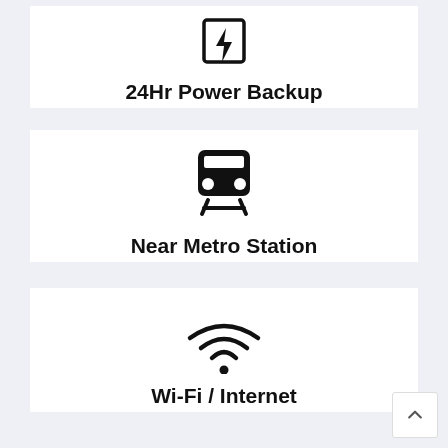[Figure (illustration): Power backup icon (lightning bolt in square) with label '24Hr Power Backup']
24Hr Power Backup
[Figure (illustration): Train/Metro icon with label 'Near Metro Station']
Near Metro Station
[Figure (illustration): Wi-Fi signal icon with label 'Wi-Fi / Internet']
Wi-Fi / Internet